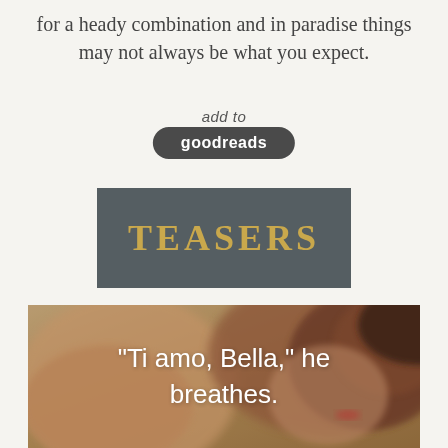for a heady combination and in paradise things may not always be what you expect.
[Figure (other): Add to Goodreads button with cursive 'add to' label above a dark rounded pill button reading 'goodreads']
[Figure (other): Dark gray banner with gold embossed text reading 'TEASERS']
[Figure (photo): Romantic close-up photo of two people with overlaid cursive white text reading "Ti amo, Bella," he breathes.]